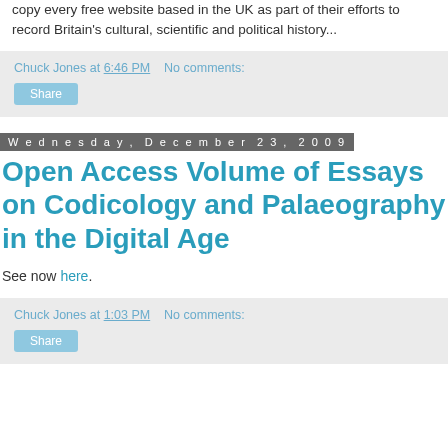copy every free website based in the UK as part of their efforts to record Britain's cultural, scientific and political history...
Chuck Jones at 6:46 PM   No comments:
Share
Wednesday, December 23, 2009
Open Access Volume of Essays on Codicology and Palaeography in the Digital Age
See now here.
Chuck Jones at 1:03 PM   No comments:
Share